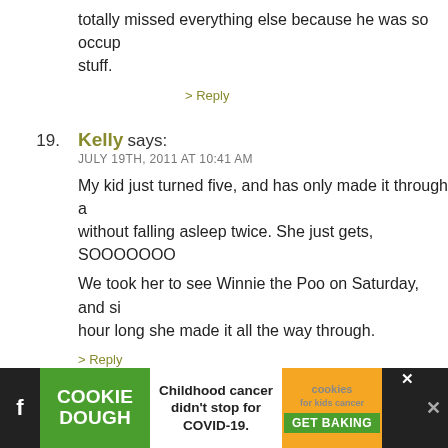totally missed everything else because he was so occupied with his stuff.
> Reply
19. Kelly says: JULY 19TH, 2011 AT 10:41 AM
My kid just turned five, and has only made it through a movie without falling asleep twice. She just gets, SOOOOOOO...
We took her to see Winnie the Poo on Saturday, and since it was an hour long she made it all the way through.
> Reply
20. Rian says: JULY 19TH, 2011 AT 11:29 AM
Is there a website where you can find mom movies in your area? Do you happen to know which theaters offer them in Vent... been trying to track this down for my husband since he... go to the movies.
[Figure (screenshot): Advertisement banner at bottom: Cookie Dough ad with 'Childhood cancer didn't stop for COVID-19.' and cookies for kids' cancer GET BAKING button, with Facebook icon and close X buttons]